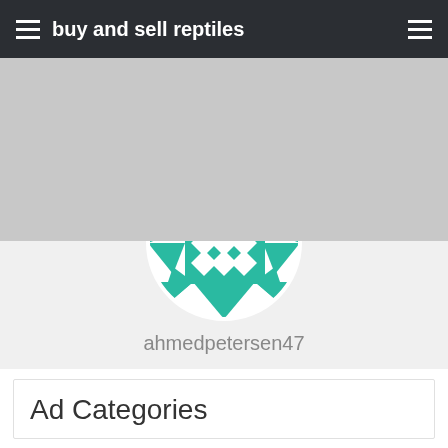buy and sell reptiles
[Figure (illustration): Gray banner background area]
[Figure (illustration): Circular user avatar with teal and white geometric/mosaic pattern made of triangles and diamond shapes]
ahmedpetersen47
Ad Categories